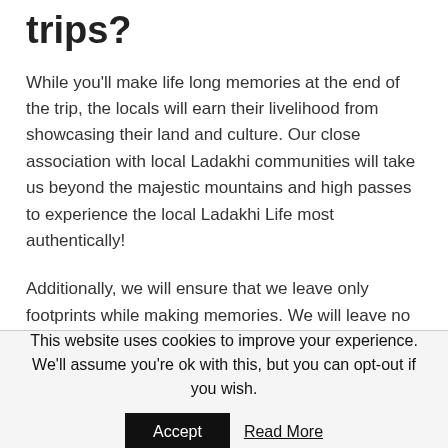trips?
While you'll make life long memories at the end of the trip, the locals will earn their livelihood from showcasing their land and culture. Our close association with local Ladakhi communities will take us beyond the majestic mountains and high passes to experience the local Ladakhi Life most authentically!
Additionally, we will ensure that we leave only footprints while making memories. We will leave no trash behind throughout our trip and will try to neutralise our carbon footprint to zero.
This website uses cookies to improve your experience. We'll assume you're ok with this, but you can opt-out if you wish.
Accept
Read More